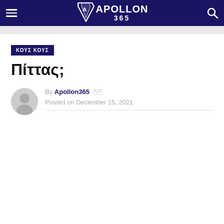APOLLON 365
ΚΟΥΣ ΚΟΥΣ
Πίττας;
By Apollon365
Posted on December 15, 2021